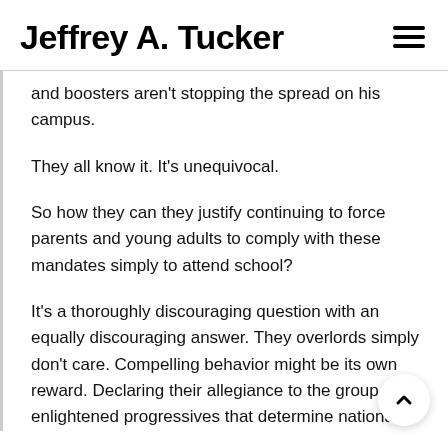Jeffrey A. Tucker
and boosters aren't stopping the spread on his campus.
They all know it. It's unequivocal.
So how they can they justify continuing to force parents and young adults to comply with these mandates simply to attend school?
It's a thoroughly discouraging question with an equally discouraging answer. They overlords simply don't care. Compelling behavior might be its own reward. Declaring their allegiance to the group enlightened progressives that determine national